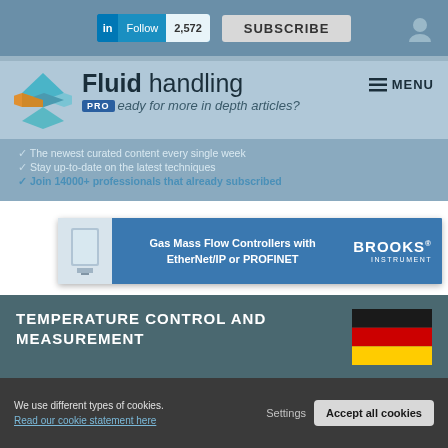in Follow 2,572 | SUBSCRIBE
[Figure (logo): Fluid handling PRO logo with diamond/rhombus icon in teal, blue, orange colors]
Fluid handling
PRO Ready for more in depth articles?
The newest curated content every single week
Stay up-to-date on the latest techniques
Join 14000+ professionals that already subscribed
[Figure (photo): Brooks Instrument ad banner: Gas Mass Flow Controllers with EtherNet/IP or PROFINET]
TEMPERATURE CONTROL AND MEASUREMENT
[Figure (photo): German flag (black, red, yellow horizontal stripes)]
OCTOBER 22, 2020
SUBSCRIBE NOW
We use different types of cookies.
Read our cookie statement here
Settings  Accept all cookies